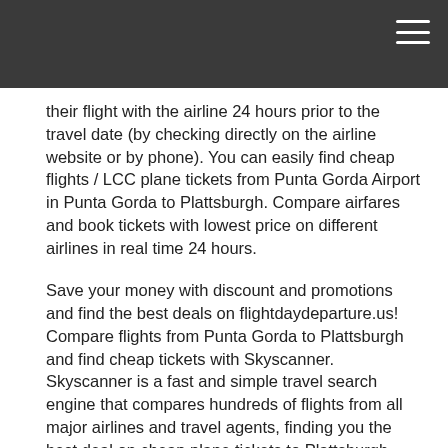their flight with the airline 24 hours prior to the travel date (by checking directly on the airline website or by phone). You can easily find cheap flights / LCC plane tickets from Punta Gorda Airport in Punta Gorda to Plattsburgh. Compare airfares and book tickets with lowest price on different airlines in real time 24 hours.
Save your money with discount and promotions and find the best deals on flightdaydeparture.us! Compare flights from Punta Gorda to Plattsburgh and find cheap tickets with Skyscanner. Skyscanner is a fast and simple travel search engine that compares hundreds of flights from all major airlines and travel agents, finding you the best deal on cheap plane tickets to Plattsburgh from Punta Gorda.